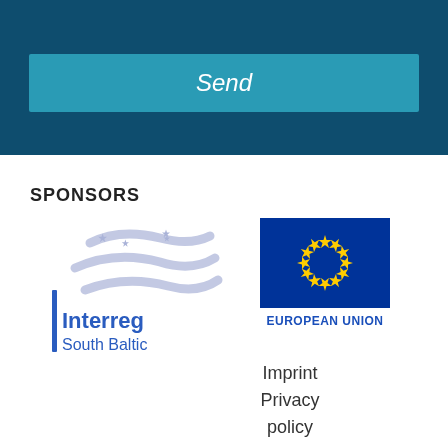[Figure (screenshot): Dark blue banner background with a teal 'Send' button (italicized) centered in it]
SPONSORS
[Figure (logo): Interreg South Baltic logo: blue/lavender wave lines with stars and vertical bar, text 'Interreg South Baltic']
[Figure (logo): European Union flag: blue rectangle with circle of 12 yellow stars, labeled 'EUROPEAN UNION']
Imprint
Privacy policy